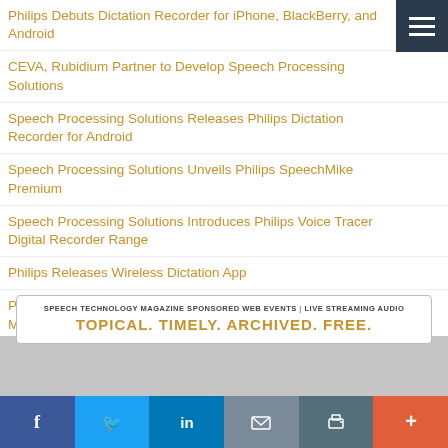Philips Debuts Dictation Recorder for iPhone, BlackBerry, and Android
CEVA, Rubidium Partner to Develop Speech Processing Solutions
Speech Processing Solutions Releases Philips Dictation Recorder for Android
Speech Processing Solutions Unveils Philips SpeechMike Premium
Speech Processing Solutions Introduces Philips Voice Tracer Digital Recorder Range
Philips Releases Wireless Dictation App
Philips Launches Dictation and Transcription Software for Mac OS X
Philips Speech Processing Unveils Updated SpeechExec Enter…
[Figure (other): Advertisement banner: Speech Technology Magazine Sponsored Web Events | Live Streaming Audio — TOPICAL. TIMELY. ARCHIVED. FREE.]
[Figure (other): Social media share bar with Facebook, Twitter, LinkedIn, Email, Print, and More buttons]